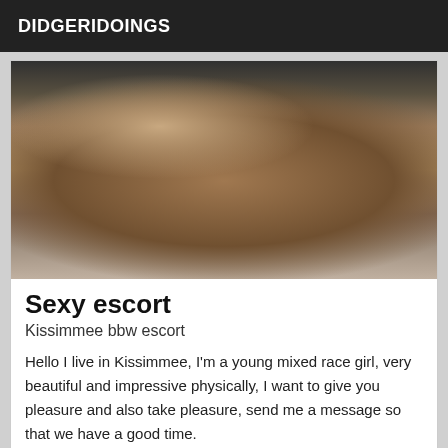DIDGERIDOINGS
[Figure (photo): Photo of a person in a bikini posing outdoors on concrete steps in sunlight]
Sexy escort
Kissimmee bbw escort
Hello I live in Kissimmee, I'm a young mixed race girl, very beautiful and impressive physically, I want to give you pleasure and also take pleasure, send me a message so that we have a good time.